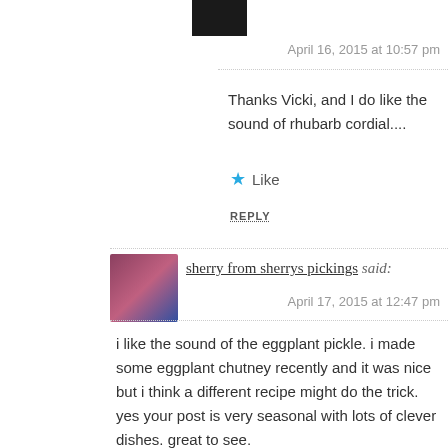[Figure (photo): Small dark avatar image at top]
April 16, 2015 at 10:57 pm
Thanks Vicki, and I do like the sound of rhubarb cordial....
★ Like
REPLY
[Figure (photo): Avatar of sherry from sherrys pickings]
sherry from sherrys pickings said:
April 17, 2015 at 12:47 pm
i like the sound of the eggplant pickle. i made some eggplant chutney recently and it was nice but i think a different recipe might do the trick. yes your post is very seasonal with lots of clever dishes. great to see.
★ Liked by 1 person
REPLY
[Figure (photo): Avatar of Beck @ Goldenpudding]
Beck @ Goldenpudding said: